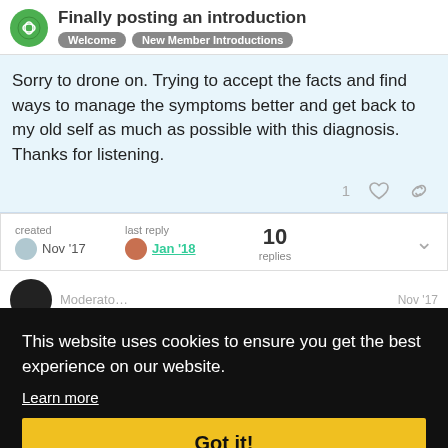Finally posting an introduction | Welcome | New Member Introductions
Sorry to drone on. Trying to accept the facts and find ways to manage the symptoms better and get back to my old self as much as possible with this diagnosis. Thanks for listening.
created Nov '17  last reply Jan '18  10 replies
This website uses cookies to ensure you get the best experience on our website.
Learn more
Got it!
Happy.
Good to hear from you and thanks for posting. Everything you describe are classic symptoms of PS fatigue I want to encourage you to try an...
Nov '17
1/11